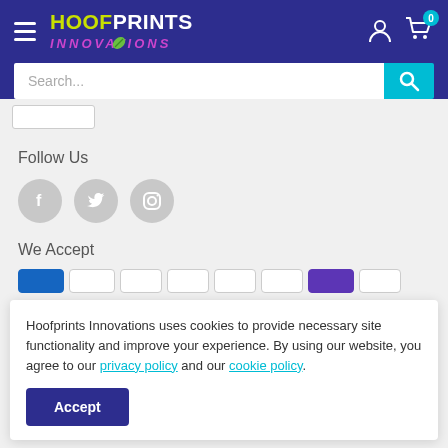[Figure (logo): HoofPrints Innovations logo with yellow HOOF, white PRINTS text and purple italic INNOVATIONS with decorative leaf element]
[Figure (screenshot): Search bar with placeholder text 'Search...' and cyan search button with magnifier icon]
[Figure (screenshot): Pagination partial showing a page button]
Follow Us
[Figure (infographic): Three social media icons: Facebook, Twitter, Instagram — grey circles]
We Accept
[Figure (screenshot): Row of payment method badges including blue and purple ones]
Hoofprints Innovations uses cookies to provide necessary site functionality and improve your experience. By using our website, you agree to our privacy policy and our cookie policy.
Accept